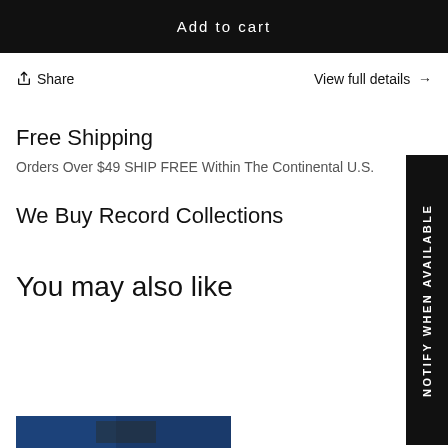Add to cart
↑  Share
View full details →
Free Shipping
Orders Over $49 SHIP FREE Within The Continental U.S.
We Buy Record Collections
You may also like
[Figure (photo): Blue image strip at bottom of page]